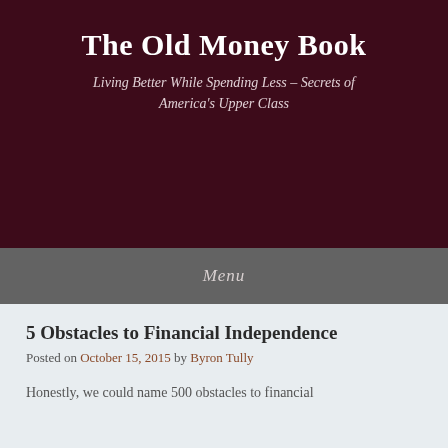The Old Money Book
Living Better While Spending Less – Secrets of America's Upper Class
Menu
5 Obstacles to Financial Independence
Posted on October 15, 2015 by Byron Tully
Honestly, we could name 500 obstacles to financial